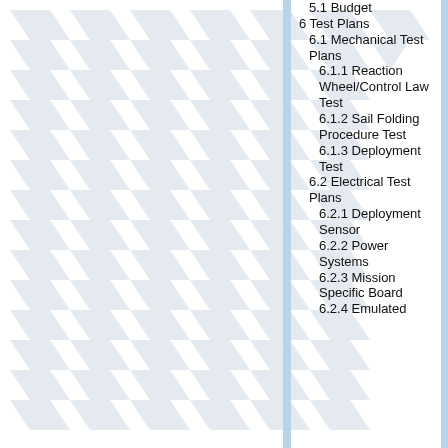[Figure (illustration): Light gray geometric triangle pattern background on left portion of page]
5.1 Budget
6 Test Plans
6.1 Mechanical Test Plans
6.1.1 Reaction Wheel/Control Law Test
6.1.2 Sail Folding Procedure Test
6.1.3 Deployment Test
6.2 Electrical Test Plans
6.2.1 Deployment Sensor
6.2.2 Power Systems
6.2.3 Mission Specific Board
6.2.4 Emulated